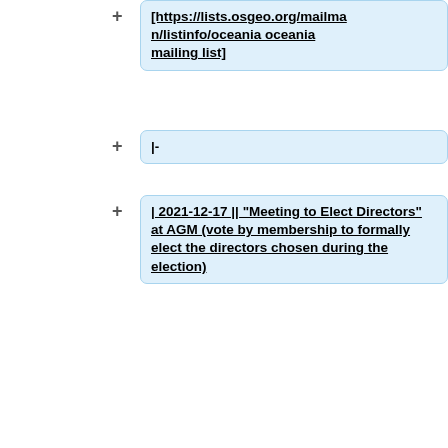[https://lists.osgeo.org/mailman/listinfo/oceania oceania mailing list]
|-
| 2021-12-17 || "Meeting to Elect Directors" at AGM (vote by membership to formally elect the directors chosen during the election)
|}
See [https://docs.google.com/document/d/1j26oiR_FNZJM1PjMEuJSfjeaRJn72-zg9RFoDoyXMNk this Google Doc] for more detail.